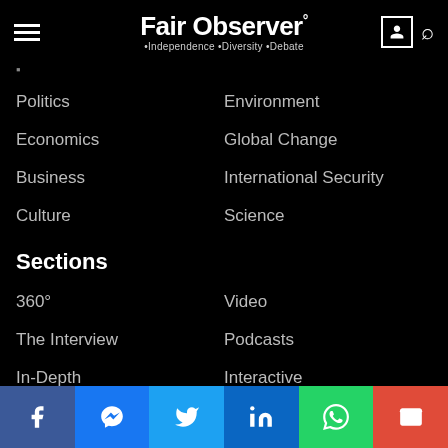Fair Observer° • Independence • Diversity • Debate
Politics
Environment
Economics
Global Change
Business
International Security
Culture
Science
Sections
360°
Video
The Interview
Podcasts
In-Depth
Interactive